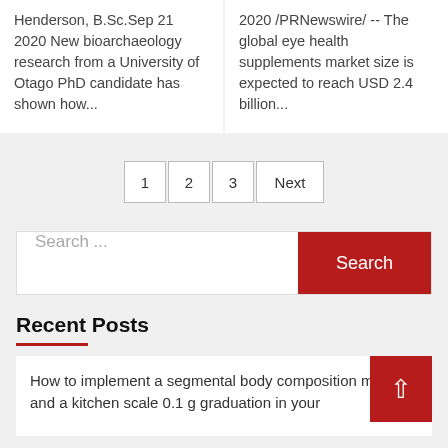Henderson, B.Sc.Sep 21 2020 New bioarchaeology research from a University of Otago PhD candidate has shown how...
2020 /PRNewswire/ -- The global eye health supplements market size is expected to reach USD 2.4 billion...
1  2  3  Next
Search ...
Recent Posts
How to implement a segmental body composition monitor and a kitchen scale 0.1 g graduation in your